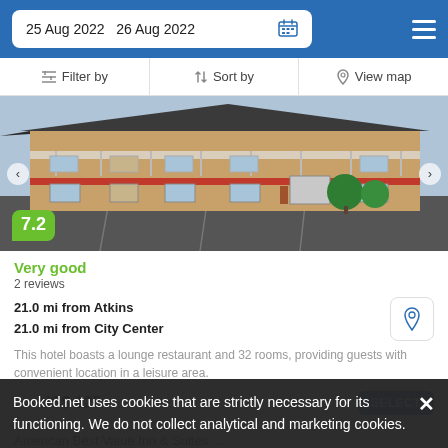25 Aug 2022  26 Aug 2022
Filter by  Sort by  View map
[Figure (photo): Exterior photo of a two-story motel building with red awnings, brick facade, and a parking lot in the foreground.]
7.2
Very good
2 reviews
21.0 mi from Atkins
21.0 mi from City Center
This hotel boasts a lounge restaurant and 32 rooms, providing guests with convenient location in a leisure area.
from US$ 125/night  SELECT
Booked.net uses cookies that are strictly necessary for its functioning. We do not collect analytical and marketing cookies.
American Best Value Inn & Suites ...